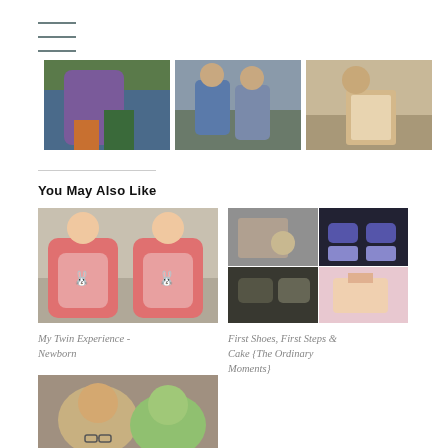[Figure (photo): Three side-by-side photos of children/babies at the top of the page]
You May Also Like
[Figure (photo): Two babies in matching red striped onesies lying down, smiling]
My Twin Experience - Newborn
[Figure (photo): Collage of four photos showing children's shoes, toys, and cake]
First Shoes, First Steps & Cake {The Ordinary Moments}
[Figure (photo): Two young children lying on a rug looking up at the camera]
Playgroup With Three